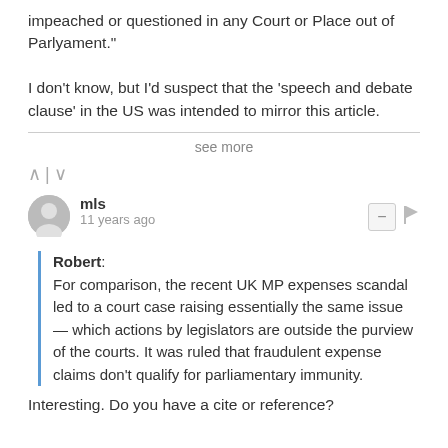impeached or questioned in any Court or Place out of Parlyament."
I don't know, but I'd suspect that the 'speech and debate clause' in the US was intended to mirror this article.
see more
mls
11 years ago
Robert: For comparison, the recent UK MP expenses scandal led to a court case raising essentially the same issue — which actions by legislators are outside the purview of the courts. It was ruled that fraudulent expense claims don't qualify for parliamentary immunity.
Interesting. Do you have a cite or reference?